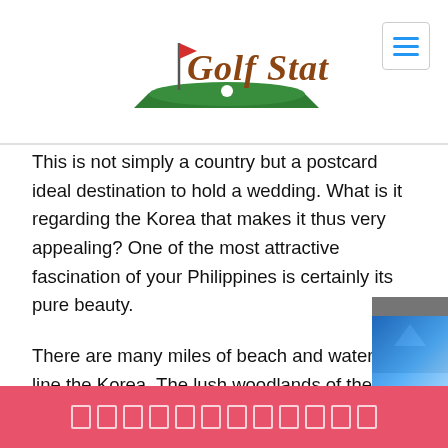Golf Station
This is not simply a country but a postcard ideal destination to hold a wedding. What is it regarding the Korea that makes it thus very appealing? One of the most attractive fascination of your Philippines is certainly its pure beauty.
There are many miles of beach and water that line the Korea. The lush woodlands of the country hide this sort of amazing scenic views that it is just a wonder that even the least bit of rain doesn’t mess up the beautiful places.
There are 1000s of species of bushes, the most famous…
□□□□□□□□□□□□